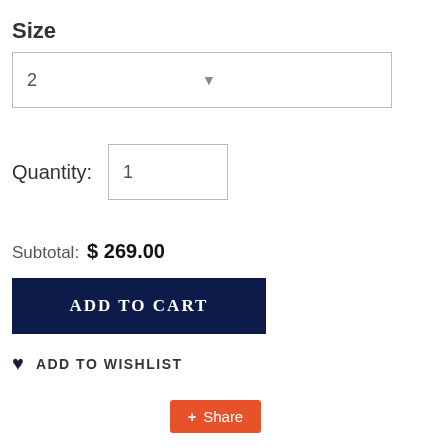Size
2
Quantity: 1
Subtotal: $ 269.00
ADD TO CART
ADD TO WISHLIST
Share